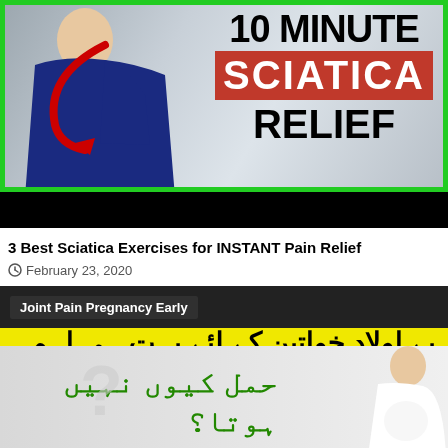[Figure (photo): Fitness thumbnail with man in blue shirt, green border, red arrow, text reading '10 MINUTE SCIATICA RELIEF' with SCIATICA on red background, black bar at bottom]
3 Best Sciatica Exercises for INSTANT Pain Relief
February 23, 2020
[Figure (infographic): Health article thumbnail showing 'Joint Pain Pregnancy Early' tag, yellow bar with Urdu text meaning 'Very important information for childless women', lower section with pregnancy question in Urdu (why doesn't pregnancy happen?) in green text over light background with female silhouette]